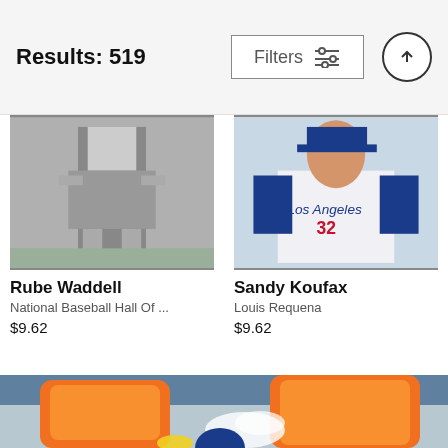Results: 519
[Figure (screenshot): Filter button with sliders icon and up arrow circle button in header bar]
[Figure (photo): Black and white photo of Rube Waddell baseball player walking on field]
Rube Waddell
National Baseball Hall Of ...
$9.62
[Figure (photo): Color photo of Sandy Koufax in Los Angeles Dodgers uniform number 32]
Sandy Koufax
Louis Requena
$9.62
[Figure (photo): Color photo of baseball player getting Gatorade dumped on head with orange coolers]